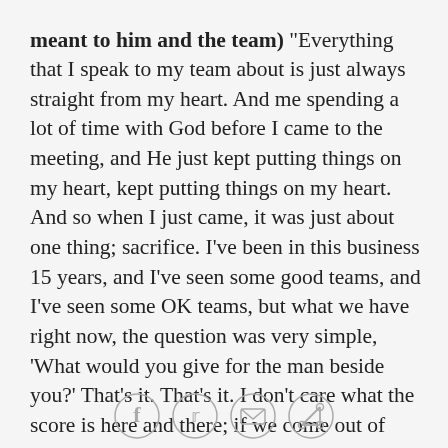(meant to him and the team) "Everything that I speak to my team about is just always straight from my heart. And me spending a lot of time with God before I came to the meeting, and He just kept putting things on my heart, kept putting things on my heart. And so when I just came, it was just about one thing; sacrifice. I've been in this business 15 years, and I've seen some good teams, and I've seen some OK teams, but what we have right now, the question was very simple, 'What would you give for the man beside you?' That's it. That's it. I don't care what the score is here and there; if we come out of here with the win, we became a better team. And that's basically what it was all about last night. Now, of course, it was much deeper, but that's kind of personal, because I really went into some personal stuff with my teammates to really share that
[Figure (other): Social share icons: Facebook, Twitter, Email, Link]